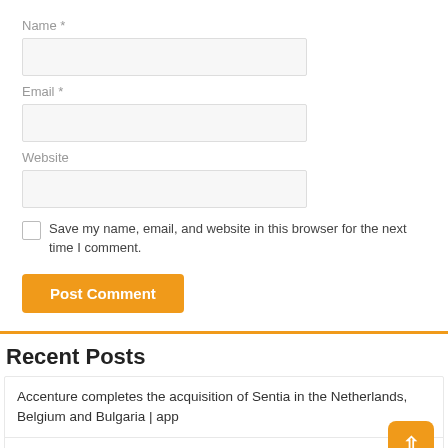Name *
Email *
Website
Save my name, email, and website in this browser for the next time I comment.
Post Comment
Recent Posts
Accenture completes the acquisition of Sentia in the Netherlands, Belgium and Bulgaria | app
Climate Brief – Dedicated to those I love